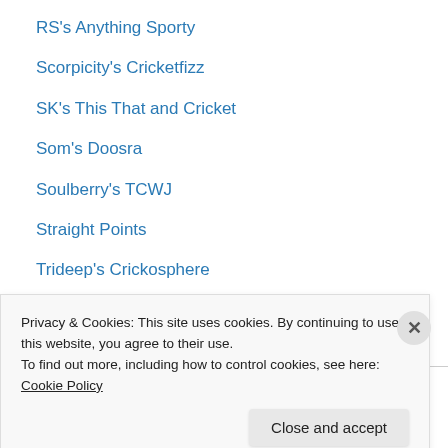RS's Anything Sporty
Scorpicity's Cricketfizz
SK's This That and Cricket
Som's Doosra
Soulberry's TCWJ
Straight Points
Trideep's Crickosphere
Wasim's cricket files
Well Pitched
Other Cricket Blogs
ARight's Cricket Cartoons
Privacy & Cookies: This site uses cookies. By continuing to use this website, you agree to their use.
To find out more, including how to control cookies, see here: Cookie Policy
Close and accept